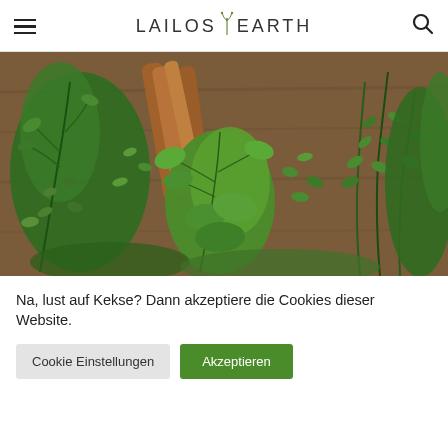LAILAS EARTH — navigation header with hamburger menu and search icon
[Figure (photo): Close-up photo of fresh green herbs (thyme, oregano, basil) and cinnamon sticks arranged on a wooden surface]
Na, lust auf Kekse? Dann akzeptiere die Cookies dieser Website.
Cookie Einstellungen | Akzeptieren